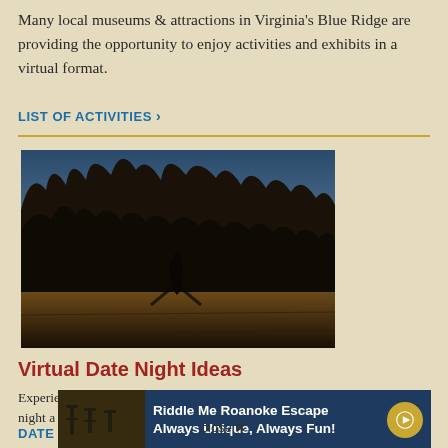Many local museums & attractions in Virginia's Blue Ridge are providing the opportunity to enjoy activities and exhibits in a virtual format.
LIST OF ACTIVITIES >
[Figure (photo): Silhouette of a person and trees at sunset/dusk, viewed from an overlook or paved area, with warm golden light filtering through dark tree canopy.]
Virtual Date Night Ideas
[Figure (screenshot): Advertisement overlay: 'Riddle Me Roanoke Escape Always Unique, Always Fun!' on dark navy background with gold play/arrow button icon. Thumbnail image of chairs to the left. 'close x' text below.]
Experience ... date night a ... s!
DATE IDEAS >